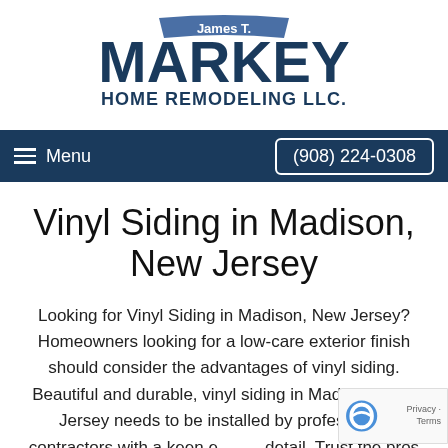[Figure (logo): James T. Markey Home Remodeling LLC logo — dark navy text with banner ribbon]
Menu  (908) 224-0308
Vinyl Siding in Madison, New Jersey
Looking for Vinyl Siding in Madison, New Jersey? Homeowners looking for a low-care exterior finish should consider the advantages of vinyl siding. Beautiful and durable, vinyl siding in Madison, New Jersey needs to be installed by professional contractors with a keen eye for detail. Trust the pros at James T. Markey Home Remodeling LLC for all of your siding projects, and expect